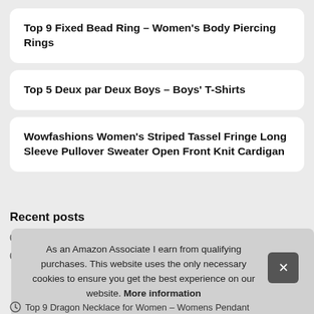Top 9 Fixed Bead Ring – Women's Body Piercing Rings
Top 5 Deux par Deux Boys – Boys' T-Shirts
Wowfashions Women's Striped Tassel Fringe Long Sleeve Pullover Sweater Open Front Knit Cardigan
Recent posts
T
T … Dan
Top 9 Dragon Necklace for Women – Womens Pendant
As an Amazon Associate I earn from qualifying purchases. This website uses the only necessary cookies to ensure you get the best experience on our website. More information